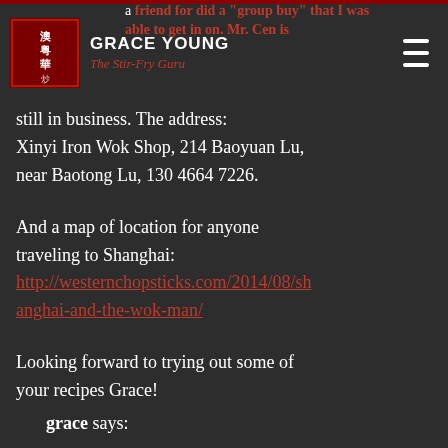GRACE YOUNG – The Stir-Fry Guru
a friend for did a "group buy" that I was able to get in on. Mr. Cen is still in business. The address: Xinyi Iron Wok Shop, 214 Baoyuan Lu, near Baotong Lu, 130 4664 7226.
And a map of location for anyone traveling to Shanghai: http://westernchopsticks.com/2014/08/shanghai-and-the-wok-man/
Looking forward to trying out some of your recipes Grace!
grace says: